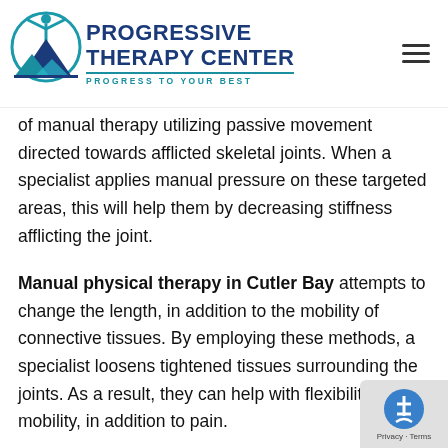[Figure (logo): Progressive Therapy Center logo with human figure, teal circle, blue mountain shapes, and text 'PROGRESSIVE THERAPY CENTER, PROGRESS TO YOUR BEST']
of manual therapy utilizing passive movement directed towards afflicted skeletal joints. When a specialist applies manual pressure on these targeted areas, this will help them by decreasing stiffness afflicting the joint.
Manual physical therapy in Cutler Bay attempts to change the length, in addition to the mobility of connective tissues. By employing these methods, a specialist loosens tightened tissues surrounding the joints. As a result, they can help with flexibility, mobility, in addition to pain.